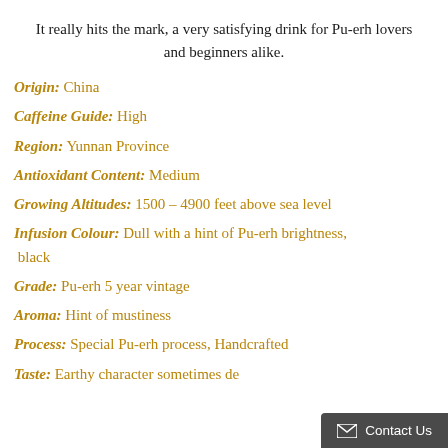It really hits the mark, a very satisfying drink for Pu-erh lovers and beginners alike.
Origin: China
Caffeine Guide: High
Region: Yunnan Province
Antioxidant Content: Medium
Growing Altitudes: 1500 – 4900 feet above sea level
Infusion Colour: Dull with a hint of Pu-erh brightness, black
Grade: Pu-erh 5 year vintage
Aroma: Hint of mustiness
Process: Special Pu-erh process, Handcrafted
Taste: Earthy character sometimes de…